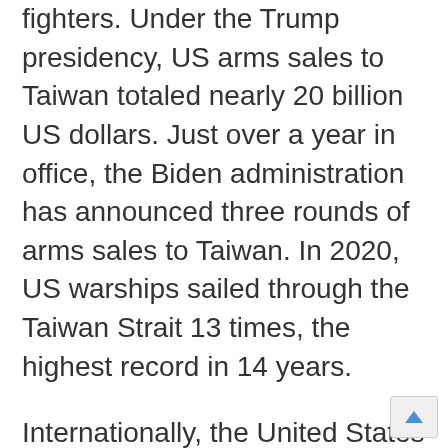fighters. Under the Trump presidency, US arms sales to Taiwan totaled nearly 20 billion US dollars. Just over a year in office, the Biden administration has announced three rounds of arms sales to Taiwan. In 2020, US warships sailed through the Taiwan Strait 13 times, the highest record in 14 years.
Internationally, the United States has worked to help Taiwan expand its so-called "international space". In October 2021, US Secretary of State Antony Blinken issued a statement that the United States encourages all UN members to join it in supporting Taiwan's active and